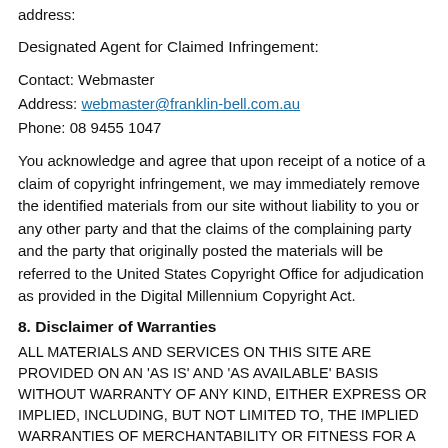address:
Designated Agent for Claimed Infringement:
Contact: Webmaster
Address: webmaster@franklin-bell.com.au
Phone: 08 9455 1047
You acknowledge and agree that upon receipt of a notice of a claim of copyright infringement, we may immediately remove the identified materials from our site without liability to you or any other party and that the claims of the complaining party and the party that originally posted the materials will be referred to the United States Copyright Office for adjudication as provided in the Digital Millennium Copyright Act.
8. Disclaimer of Warranties
ALL MATERIALS AND SERVICES ON THIS SITE ARE PROVIDED ON AN 'AS IS' AND 'AS AVAILABLE' BASIS WITHOUT WARRANTY OF ANY KIND, EITHER EXPRESS OR IMPLIED, INCLUDING, BUT NOT LIMITED TO, THE IMPLIED WARRANTIES OF MERCHANTABILITY OR FITNESS FOR A